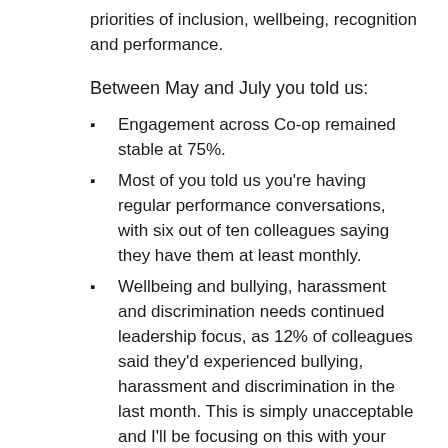priorities of inclusion, wellbeing, recognition and performance.
Between May and July you told us:
Engagement across Co-op remained stable at 75%.
Most of you told us you're having regular performance conversations, with six out of ten colleagues saying they have them at least monthly.
Wellbeing and bullying, harassment and discrimination needs continued leadership focus, as 12% of colleagues said they'd experienced bullying, harassment and discrimination in the last month. This is simply unacceptable and I'll be focusing on this with your leadership teams.
You want to have more opportunities to have your say particularly during change.
You said you see less (6% decline) of your leaders showing positive behaviour, such as giving feedback on performance or encouraging team discussion.